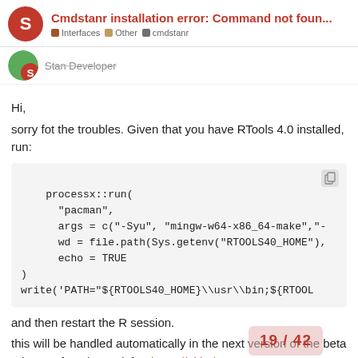Cmdstanr installation error: Command not foun... | Interfaces | Other | cmdstanr
Stan Developer
Hi,
sorry fot the troubles. Given that you have RTools 4.0 installed, run:
processx::run(
      "pacman",
      args = c("-Syu", "mingw-w64-x86_64-make","-
      wd = file.path(Sys.getenv("RTOOLS40_HOME"),
      echo = TRUE
)
write('PATH="${RTOOLS40_HOME}\\usr\\bin;${RTOOL
and then restart the R session.
this will be handled automatically in the next version of the beta release of cmdstanr (after https://github.co dev/cmdstanr/pull/289 3 is merged).